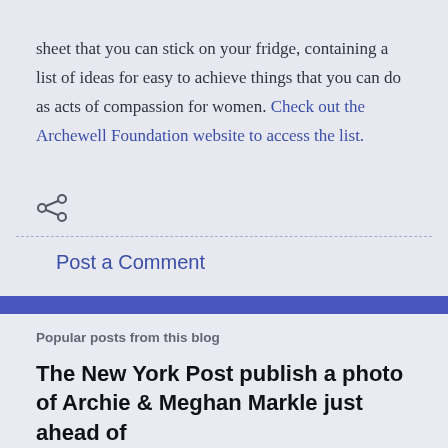sheet that you can stick on your fridge, containing a list of ideas for easy to achieve things that you can do as acts of compassion for women. Check out the Archewell Foundation website to access the list.
[Figure (other): Share icon (less-than style arrow icon)]
Post a Comment
Popular posts from this blog
The New York Post publish a photo of Archie & Meghan Markle just ahead of